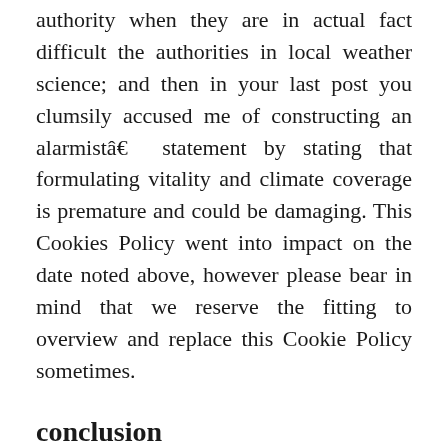authority when they are in actual fact difficult the authorities in local weather science; and then in your last post you clumsily accused me of constructing an alarmistâ€ statement by stating that formulating vitality and climate coverage is premature and could be damaging. This Cookies Policy went into impact on the date noted above, however please bear in mind that we reserve the fitting to overview and replace this Cookie Policy sometimes.
conclusion
The argument isn't any kind of legitimate as a result of it was signed by individuals conversant in the issues or the science, but it surely does add weight, particularly to counter-balance arguments from authority heard byâ€ local weather activistsâ€ so much of the time.